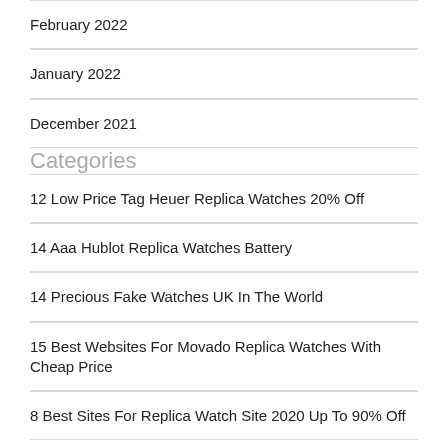February 2022
January 2022
December 2021
Categories
12 Low Price Tag Heuer Replica Watches 20% Off
14 Aaa Hublot Replica Watches Battery
14 Precious Fake Watches UK In The World
15 Best Websites For Movado Replica Watches With Cheap Price
8 Best Sites For Replica Watch Site 2020 Up To 90% Off